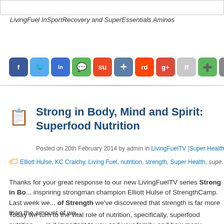LivingFuel InSportRecovery and SuperEssentials Aminos
[Figure (screenshot): Row of social media sharing icons: Facebook, Twitter, Delicious, Digg, StumbleUpon, Digg/other, Reddit, Google+, FriendFeed, More, Email]
Strong in Body, Mind and Spirit: Superfood Nutrition
Posted on 20th February 2014 by admin in LivingFuelTV | Super Health
Elliott Hulse, KC Craichy, Living Fuel, nutrition, strength, Super Health, supe...
Thanks for your great response to our new LivingFuelTV series Strong in Bo... inspriring strongman champion Elliott Hulse of StrengthCamp. Last week we... of Strength we've discovered that strength is far more than the amount of we...
Today we turn to the vital role of nutrition, specifically, superfood nutrition. ... is it important to you and your family, and how many essential nutrients do yo...